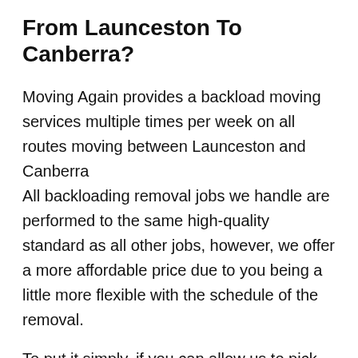What Is The Cheapest Way To Move From Launceston To Canberra?
Moving Again provides a backload moving services multiple times per week on all routes moving between Launceston and Canberra All backloading removal jobs we handle are performed to the same high-quality standard as all other jobs, however, we offer a more affordable price due to you being a little more flexible with the schedule of the removal.
To put it simply, if you can allow us to pick up within a 48-hour window instead of on a specific day, we'll